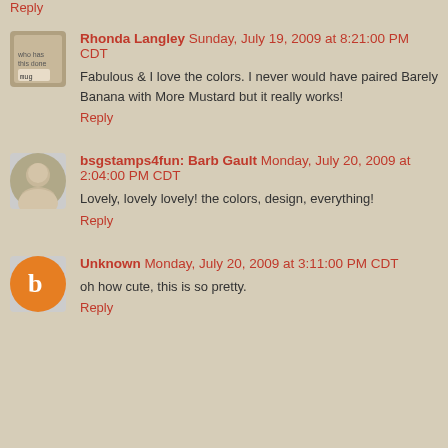Reply
Rhonda Langley Sunday, July 19, 2009 at 8:21:00 PM CDT
Fabulous & I love the colors. I never would have paired Barely Banana with More Mustard but it really works!
Reply
bsgstamps4fun: Barb Gault Monday, July 20, 2009 at 2:04:00 PM CDT
Lovely, lovely lovely! the colors, design, everything!
Reply
Unknown Monday, July 20, 2009 at 3:11:00 PM CDT
oh how cute, this is so pretty.
Reply